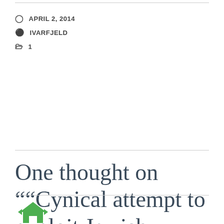APRIL 2, 2014
IVARFJELD
1
One thought on ““Cynical attempt to exploit Jewish values””